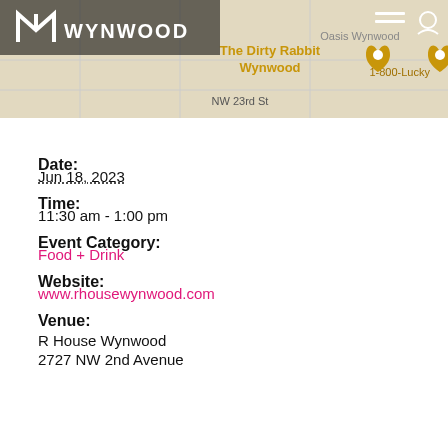[Figure (screenshot): Wynwood website header with map background showing NW 23rd St area, logo with 'WYNWOOD' text, and navigation icons]
Date:
Jun 18, 2023
Time:
11:30 am - 1:00 pm
Event Category:
Food + Drink
Website:
www.rhousewynwood.com
Venue:
R House Wynwood
2727 NW 2nd Avenue